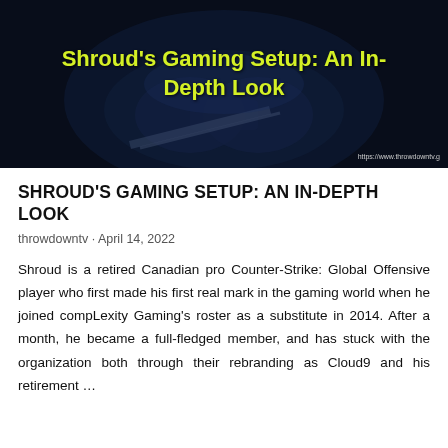[Figure (screenshot): Dark gaming-themed hero image with a game controller silhouette visible in the background. Yellow-green text overlay reads 'Shroud's Gaming Setup: An In-Depth Look'. URL watermark visible at bottom right: 'https://www.throwdowntv.g']
SHROUD'S GAMING SETUP: AN IN-DEPTH LOOK
throwdowntv · April 14, 2022
Shroud is a retired Canadian pro Counter-Strike: Global Offensive player who first made his first real mark in the gaming world when he joined compLexity Gaming's roster as a substitute in 2014. After a month, he became a full-fledged member, and has stuck with the organization both through their rebranding as Cloud9 and his retirement …